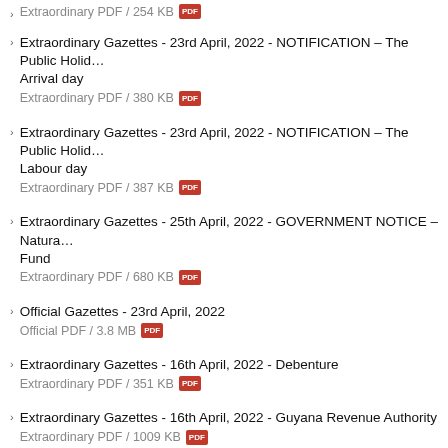Extraordinary PDF / 254 KB
Extraordinary Gazettes - 23rd April, 2022 - NOTIFICATION – The Public Holid… Arrival day
Extraordinary PDF / 380 KB
Extraordinary Gazettes - 23rd April, 2022 - NOTIFICATION – The Public Holid… Labour day
Extraordinary PDF / 387 KB
Extraordinary Gazettes - 25th April, 2022 - GOVERNMENT NOTICE – Natura… Fund
Extraordinary PDF / 680 KB
Official Gazettes - 23rd April, 2022
Official PDF / 3.8 MB
Extraordinary Gazettes - 16th April, 2022 - Debenture
Extraordinary PDF / 351 KB
Extraordinary Gazettes - 16th April, 2022 - Guyana Revenue Authority
Extraordinary PDF / 1009 KB
Extraordinary Gazettes - 31st March, 2022 - GOVERNMENT NOTICE - Appoi… Board of Directors within the Home Affairs Sector
Extraordinary PDF / 735 KB